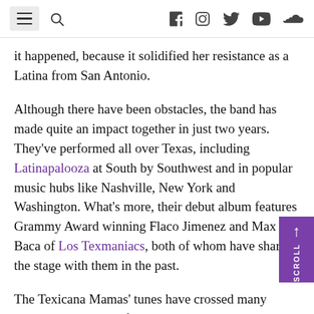Navigation bar with hamburger menu, search icon, and social media icons (Facebook, Instagram, Twitter, YouTube, SoundCloud)
it happened, because it solidified her resistance as a Latina from San Antonio.
Although there have been obstacles, the band has made quite an impact together in just two years. They've performed all over Texas, including Latinapalooza at South by Southwest and in popular music hubs like Nashville, New York and Washington. What's more, their debut album features Grammy Award winning Flaco Jimenez and Max Baca of Los Texmaniacs, both of whom have shared the stage with them in the past.
The Texicana Mamas' tunes have crossed many borders and reached fans on a global scale